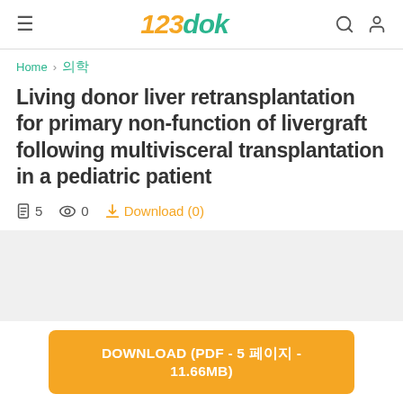123dok — navigation bar with hamburger menu, logo, search and user icons
Home > 의학
Living donor liver retransplantation for primary non-function of livergraft following multivisceral transplantation in a pediatric patient
5 pages  0 views  Download (0)
[Figure (other): Gray document preview area]
DOWNLOAD (PDF - 5 페이지 - 11.66MB)